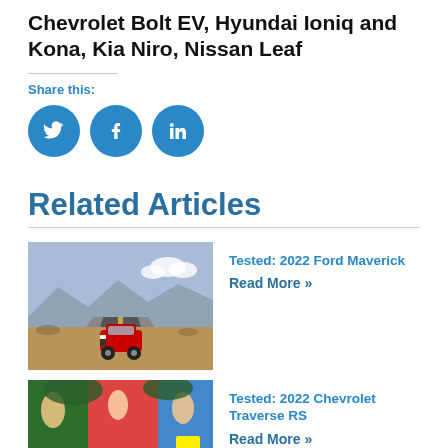Chevrolet Bolt EV, Hyundai Ioniq and Kona, Kia Niro, Nissan Leaf
Share this:
[Figure (infographic): Social media share icons: Twitter (bird), Facebook (f), LinkedIn (in) — three teal/blue circles]
Related Articles
[Figure (photo): Red SUV/truck driving on a desert highway with mountains in background — Tested: 2022 Ford Maverick]
Tested: 2022 Ford Maverick
Read More »
[Figure (photo): Red SUV parked in front of a colorful mural — Tested: 2022 Chevrolet Traverse RS]
Tested: 2022 Chevrolet Traverse RS
Read More »